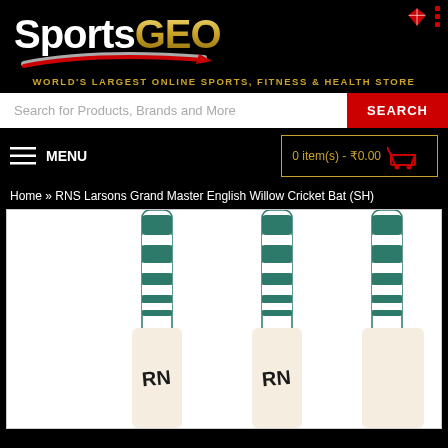[Figure (logo): SportsGEO logo with gold GEO text and red swoosh on black background]
WORLD'S LARGEST ONLINE SPORTS, FITNESS & HEALTH STORE
Search for Products, Brands and More
SEARCH
≡  MENU
0 item(s) - ₹0.00
Home » RNS Larsons Grand Master English Willow Cricket Bat (SH)
[Figure (photo): Three RNS Larsons Grand Master English Willow Cricket Bats showing handles with green and white wrapping, photographed on white background]